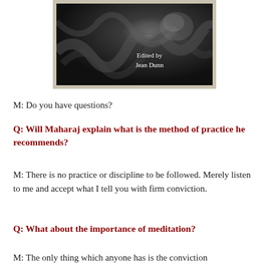[Figure (photo): Book cover showing a black and white swirling abstract/smoke image with text 'Edited by Jean Dunn' in white on the right side]
M: Do you have questions?
Q: Will Maharaj explain what is the method of practice he recommends?
M: There is no practice or discipline to be followed. Merely listen to me and accept what I tell you with firm conviction.
Q: What about the importance of meditation?
M: The only thing which anyone has is the conviction